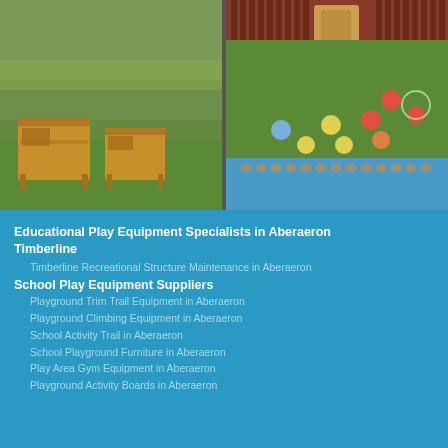[Figure (photo): Outdoor mud kitchen play equipment - wooden tables with pots and pans on green grass]
[Figure (photo): Outdoor play area with colorful balls on green grass, wooden structure in background, blue ground markings]
Educational Play Equipment Specialists in Aberaeron
Timberline
Timberline Recreational Structure Maintenance in Aberaeron
School Play Equipment Suppliers
Playground Trim Trail Equipment in Aberaeron
Playground Climbing Equipment in Aberaeron
School Activity Trail in Aberaeron
School Playground Furniture in Aberaeron
Play Area Gym Equipment in Aberaeron
Playground Activity Boards in Aberaeron